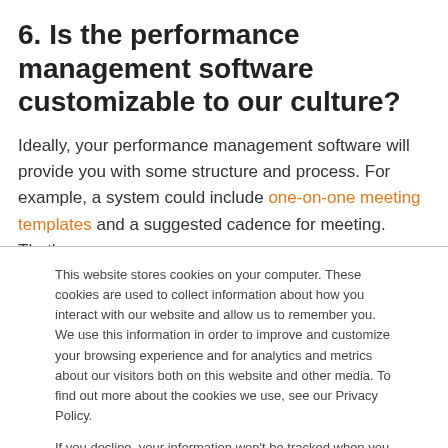6. Is the performance management software customizable to our culture?
Ideally, your performance management software will provide you with some structure and process. For example, a system could include one-on-one meeting templates and a suggested cadence for meeting. That's
This website stores cookies on your computer. These cookies are used to collect information about how you interact with our website and allow us to remember you. We use this information in order to improve and customize your browsing experience and for analytics and metrics about our visitors both on this website and other media. To find out more about the cookies we use, see our Privacy Policy.

If you decline, your information won't be tracked when you visit this website. A single cookie will be used in your browser to remember your preference not to be tracked.
Accept | Decline